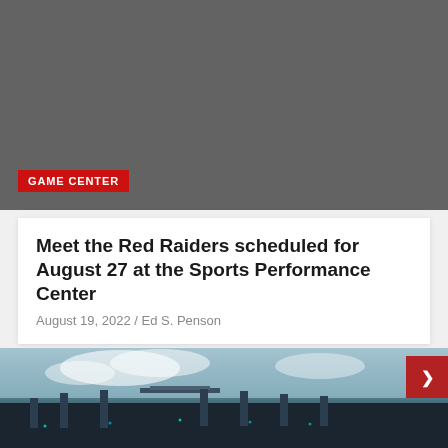[Figure (photo): Dark gray placeholder image block with a red 'GAME CENTER' badge label in the lower left]
GAME CENTER
Meet the Red Raiders scheduled for August 27 at the Sports Performance Center
August 19, 2022 / Ed S. Penson
[Figure (photo): Photograph of a stadium under construction against a cloudy sky, with a red button/icon in the upper right corner]